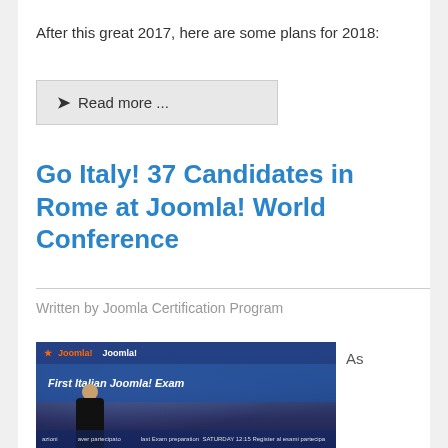After this great 2017, here are some plans for 2018:
❯  Read more ...
Go Italy! 37 Candidates in Rome at Joomla! World Conference
Written by Joomla Certification Program
[Figure (photo): Photo of a presenter on stage with a projected slide reading 'First Italian Joomla! Exam' and a crowd image on the screen. The Joomla! logo is visible on a banner at the top.]
As